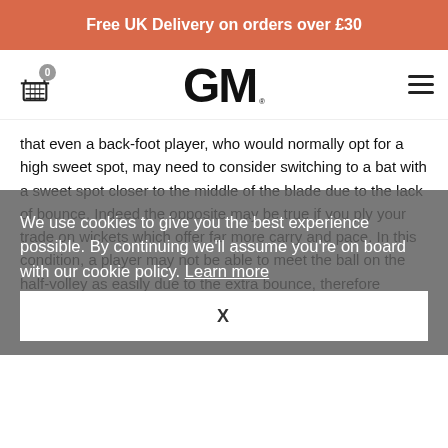Free UK Delivery on orders over £30
[Figure (logo): GM cricket brand logo with basket/cart icon showing 0 items and hamburger menu]
that even a back-foot player, who would normally opt for a high sweet spot, may need to consider switching to a bat with a sweet spot closer to the middle of the blade due to the lack of bounce. Indeed the opposite may be true if you ply your trade on wickets which offer far more carry and pace. In this condition, a player may not be able to meet the ball on the half-volley as easily due to the extra bounce, therefore meaning that a lower sweet spot may not be as effective for you as a bat with a slightly higher sweet spot would be.
We use cookies to give you the best experience possible. By continuing we'll assume you're on board with our cookie policy. Learn more
Cricket is a game of trial and error, which is often epitomised by the selection of a cricket bat. It's a very